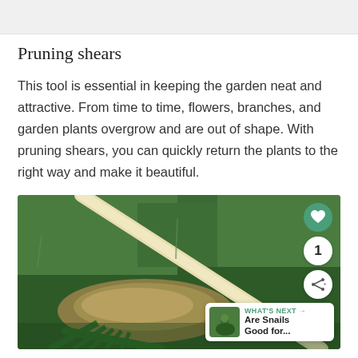[Figure (photo): Gray placeholder image at the top of the page]
Pruning shears
This tool is essential in keeping the garden neat and attractive. From time to time, flowers, branches, and garden plants overgrow and are out of shape. With pruning shears, you can quickly return the plants to the right way and make it beautiful.
[Figure (photo): Photograph of a green garden rake/hoe lying on green grass with some dry grass/thatch. Overlaid UI elements: a green heart button, a white circle with number 1, a white share button, and a 'What's Next' card showing 'Are Snails Good for...' with a thumbnail.]